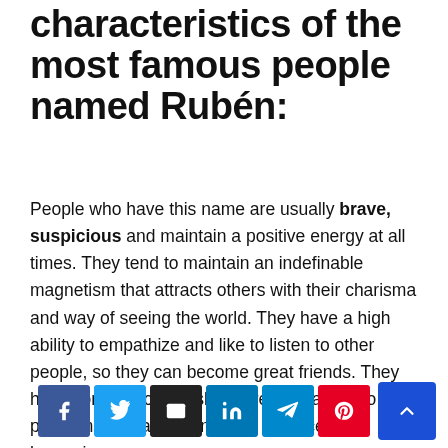characteristics of the most famous people named Rubén:
People who have this name are usually brave, suspicious and maintain a positive energy at all times. They tend to maintain an indefinable magnetism that attracts others with their charisma and way of seeing the world. They have a high ability to empathize and like to listen to other people, so they can become great friends. They have communication skills, great creativity to solve problems and are enemies of injustice and hypocrisy.